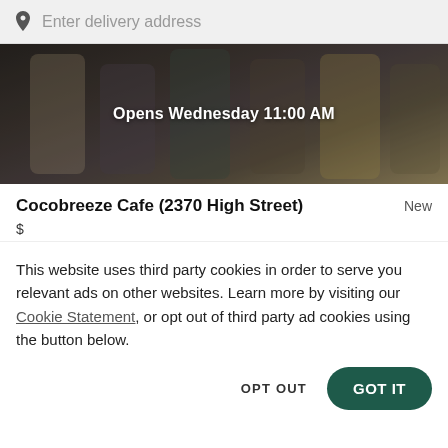Enter delivery address
[Figure (photo): Dark background hero image showing cups/drinks with overlay text 'Opens Wednesday 11:00 AM']
Opens Wednesday 11:00 AM
Cocobreeze Cafe (2370 High Street)
New
$
This website uses third party cookies in order to serve you relevant ads on other websites. Learn more by visiting our Cookie Statement, or opt out of third party ad cookies using the button below.
OPT OUT
GOT IT